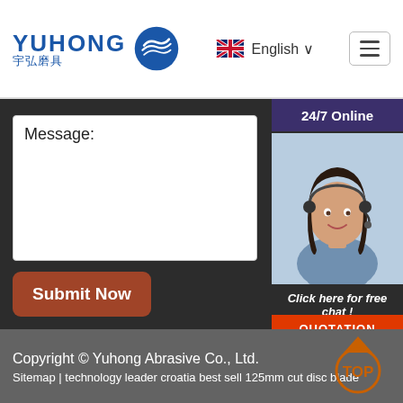[Figure (logo): Yuhong abrasive company logo with wave icon and Chinese characters]
English ∨
Message:
24/7 Online
[Figure (photo): Customer service representative woman with headset smiling]
Click here for free chat !
QUOTATION
Submit Now
Copyright © Yuhong Abrasive Co., Ltd.
Sitemap | technology leader croatia best sell 125mm cut disc blade